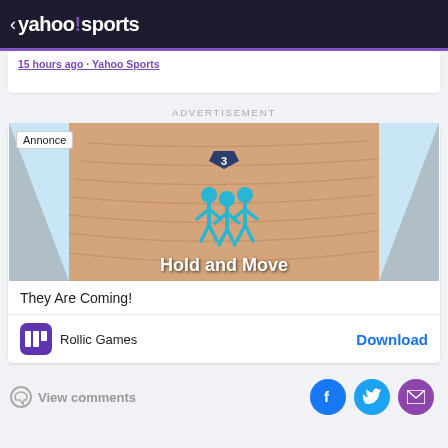< yahoo!sports
15 hours ago · Yahoo Sports
ADVERTISEMENT
[Figure (screenshot): Mobile game advertisement showing 'Hold and Move' game with cyan stick figures on a sandy path, with 'Annonce' badge in top left corner]
They Are Coming!
Rollic Games   Download
View comments